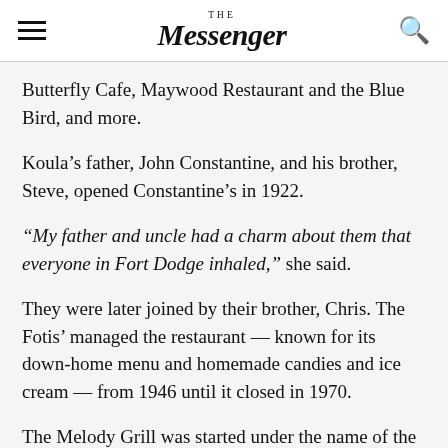The Messenger
Butterfly Cafe, Maywood Restaurant and the Blue Bird, and more.
Koula's father, John Constantine, and his brother, Steve, opened Constantine's in 1922.
“My father and uncle had a charm about them that everyone in Fort Dodge inhaled,” she said.
They were later joined by their brother, Chris. The Fotis’ managed the restaurant — known for its down-home menu and homemade candies and ice cream — from 1946 until it closed in 1970.
The Melody Grill was started under the name of the Rainbow Grill by George and Chrysantho...